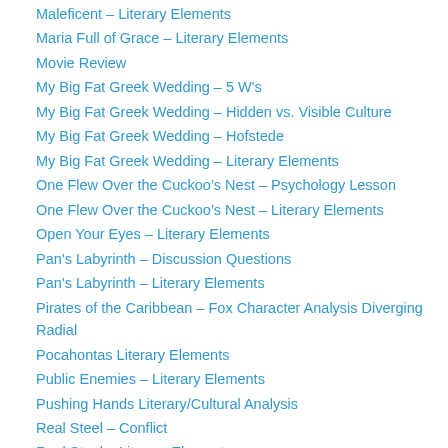Maleficent – Literary Elements
Maria Full of Grace – Literary Elements
Movie Review
My Big Fat Greek Wedding – 5 W's
My Big Fat Greek Wedding – Hidden vs. Visible Culture
My Big Fat Greek Wedding – Hofstede
My Big Fat Greek Wedding – Literary Elements
One Flew Over the Cuckoo's Nest – Psychology Lesson
One Flew Over the Cuckoo's Nest – Literary Elements
Open Your Eyes – Literary Elements
Pan's Labyrinth – Discussion Questions
Pan's Labyrinth – Literary Elements
Pirates of the Caribbean – Fox Character Analysis Diverging Radial
Pocahontas Literary Elements
Public Enemies – Literary Elements
Pushing Hands Literary/Cultural Analysis
Real Steel – Conflict
Real Steel – Literary Elements
Real Women Have Curves: Cultural Comparison
Romeo and Juliet – Literary Elements